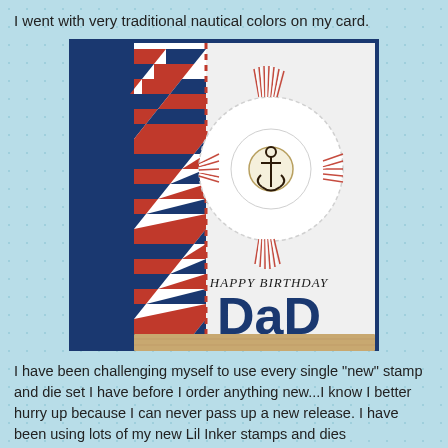I went with very traditional nautical colors on my card.
[Figure (photo): A handmade nautical birthday card for Dad featuring a life preserver ring made of red and white twine with a gold anchor charm, navy blue 'DAD' die-cut letters, 'HAPPY BIRTHDAY' stamp, and a red/navy chevron strip on the left side, displayed against a navy blue background on a wooden surface.]
I have been challenging myself to use every single "new" stamp and die set I have before I order anything new...I know I better hurry up because I can never pass up a new release. I have been using lots of my new Lil Inker stamps and dies